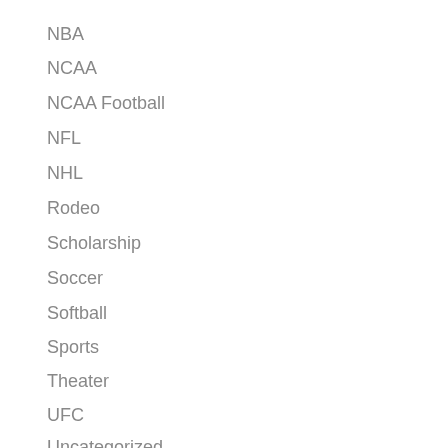NBA
NCAA
NCAA Football
NFL
NHL
Rodeo
Scholarship
Soccer
Softball
Sports
Theater
UFC
Uncategorized